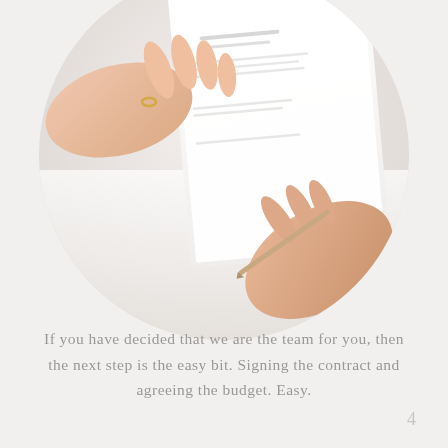[Figure (photo): A circular cropped photograph showing two pairs of hands over a document on a white surface. One hand with a ring rests flat on papers, the other holds a pen as if signing a contract.]
If you have decided that we are the team for you, then the next step is the easy bit. Signing the contract and agreeing the budget. Easy.
4